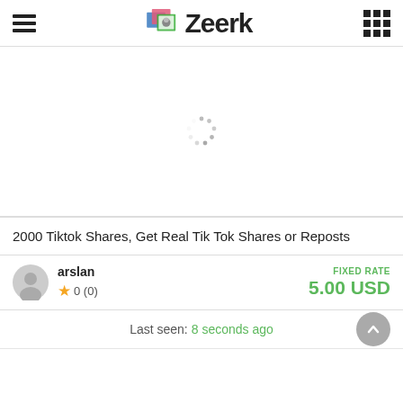Zeerk
[Figure (screenshot): Loading spinner (dots in circular arrangement) on white background area where product image would appear]
2000 Tiktok Shares, Get Real Tik Tok Shares or Reposts
arslan  0 (0)  FIXED RATE  5.00 USD
Last seen: 8 seconds ago